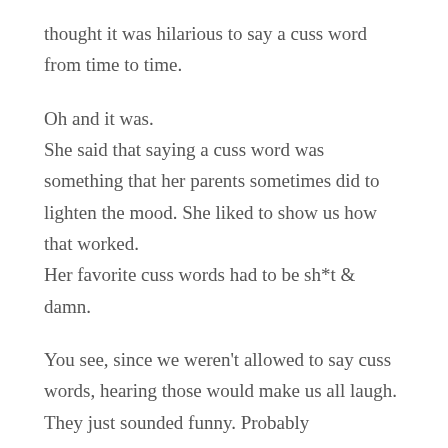thought it was hilarious to say a cuss word from time to time.
Oh and it was. She said that saying a cuss word was something that her parents sometimes did to lighten the mood. She liked to show us how that worked. Her favorite cuss words had to be sh*t & damn.
You see, since we weren't allowed to say cuss words, hearing those would make us all laugh. They just sounded funny. Probably